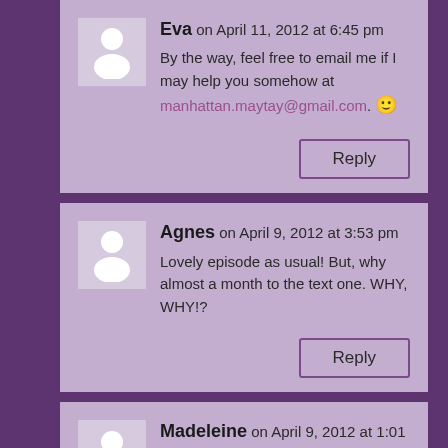Eva on April 11, 2012 at 6:45 pm
By the way, feel free to email me if I may help you somehow at manhattan.maytay@gmail.com. 🙂
Reply
Agnes on April 9, 2012 at 3:53 pm
Lovely episode as usual! But, why almost a month to the text one. WHY, WHY!?
Reply
Madeleine on April 9, 2012 at 1:01 am